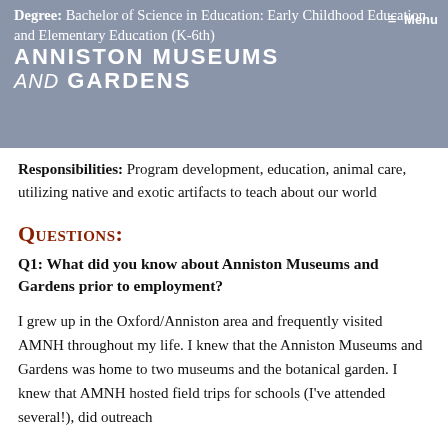Degree: Bachelor of Science in Education: Early Childhood Education and Elementary Education (K-6th)
Responsibilities: Program development, education, animal care, utilizing native and exotic artifacts to teach about our world
Questions:
Q1: What did you know about Anniston Museums and Gardens prior to employment?
I grew up in the Oxford/Anniston area and frequently visited AMNH throughout my life. I knew that the Anniston Museums and Gardens was home to two museums and the botanical garden. I knew that AMNH hosted field trips for schools (I've attended several!), did outreach